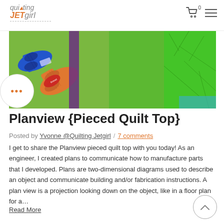Quilting Jetgirl – navigation header with logo and cart/menu icons
[Figure (photo): Close-up photo of colorful quilt fabric pieces in green shades with thread spools (blue and orange) on top]
Planview {Pieced Quilt Top}
Posted by Yvonne @Quilting Jetgirl / 7 comments
I get to share the Planview pieced quilt top with you today! As an engineer, I created plans to communicate how to manufacture parts that I developed. Plans are two-dimensional diagrams used to describe an object and communicate building and/or fabrication instructions. A plan view is a projection looking down on the object, like in a floor plan for a…
Read More